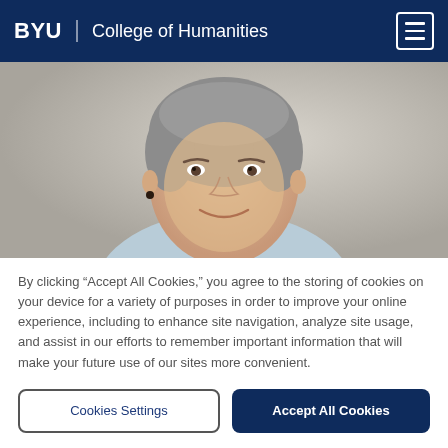BYU | College of Humanities
[Figure (photo): Headshot of a middle-aged woman with short gray hair, smiling, wearing a light blue top, against a light gray background.]
By clicking “Accept All Cookies,” you agree to the storing of cookies on your device for a variety of purposes in order to improve your online experience, including to enhance site navigation, analyze site usage, and assist in our efforts to remember important information that will make your future use of our sites more convenient.
Cookies Settings
Accept All Cookies